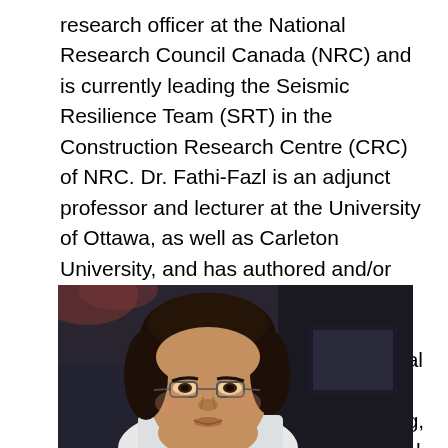research officer at the National Research Council Canada (NRC) and is currently leading the Seismic Resilience Team (SRT) in the Construction Research Centre (CRC) of NRC. Dr. Fathi-Fazl is an adjunct professor and lecturer at the University of Ottawa, as well as Carleton University, and has authored and/or co-authored over 50 research papers and technical reports. Since 2008, he has collaborated with several structural consulting firms in Canada in the area of structural design, seismic upgrading, rehabilitation and renovation of several residential, commercial, recreational, heritage and specialty projects.
[Figure (photo): Portrait photograph of Dr. Fathi-Fazl, a man with dark curly hair and glasses, shown from roughly the shoulders up against a dark background.]